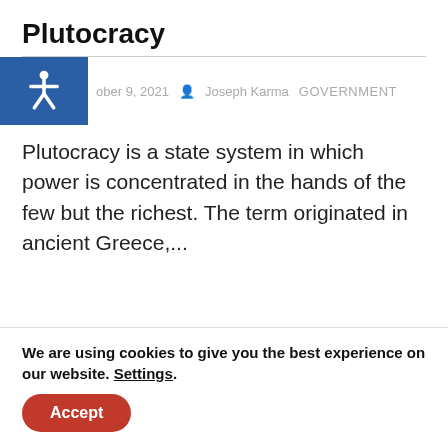Plutocracy
October 9, 2021  Joseph Karma  GOVERNMENT
Plutocracy is a state system in which power is concentrated in the hands of the few but the richest. The term originated in ancient Greece,...
Populism
We are using cookies to give you the best experience on our website. Settings.